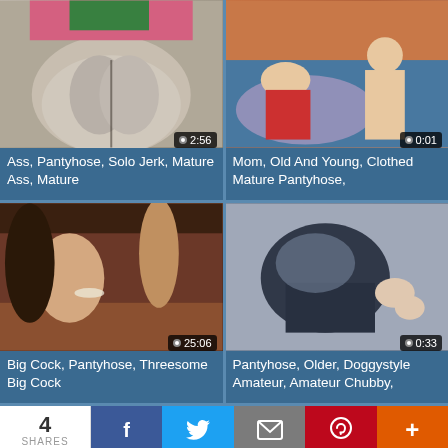[Figure (photo): Video thumbnail showing person in black pantyhose from behind, duration 2:56]
Ass, Pantyhose, Solo Jerk, Mature Ass, Mature
[Figure (photo): Video thumbnail showing two people on a bed, duration 0:01]
Mom, Old And Young, Clothed Mature Pantyhose,
[Figure (photo): Video thumbnail showing threesome scene, duration 25:06]
Big Cock, Pantyhose, Threesome Big Cock
[Figure (photo): Video thumbnail showing doggystyle scene, duration 0:33]
Pantyhose, Older, Doggystyle Amateur, Amateur Chubby,
[Figure (photo): Video thumbnail partially visible at bottom left]
[Figure (photo): Video thumbnail partially visible at bottom right]
4 SHARES
f
Twitter share button
Email share button
Pinterest share button
+ more